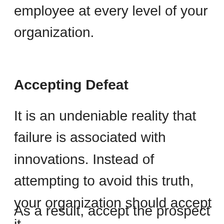employee at every level of your organization.
Accepting Defeat
It is an undeniable reality that failure is associated with innovations. Instead of attempting to avoid this truth, your organization should accept it.
As a result, accept the prospect of failure